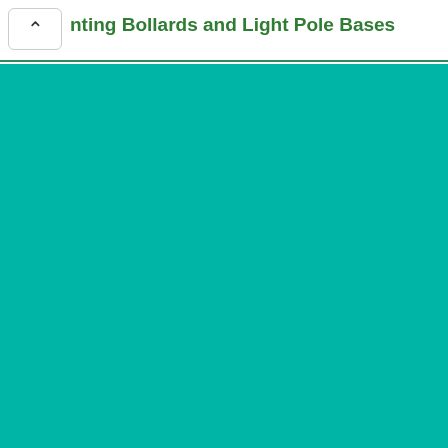nting Bollards and Light Pole Bases
[Figure (other): Solid teal/turquoise background area filling the lower portion of the page]